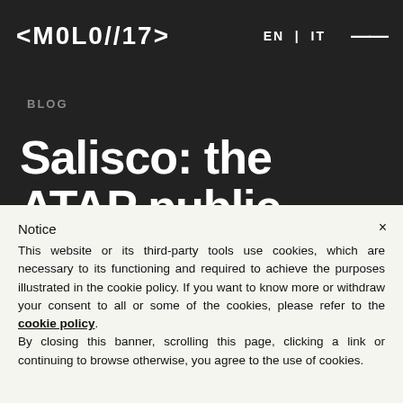[Figure (logo): MOLO//17 logo in white angular text on dark background]
EN | IT  ≡
BLOG
Salisco: the ATAP public transport app to move in
Notice
×
This website or its third-party tools use cookies, which are necessary to its functioning and required to achieve the purposes illustrated in the cookie policy. If you want to know more or withdraw your consent to all or some of the cookies, please refer to the cookie policy.
By closing this banner, scrolling this page, clicking a link or continuing to browse otherwise, you agree to the use of cookies.